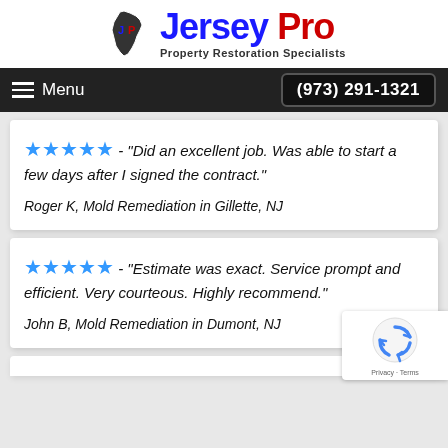[Figure (logo): Jersey Pro Property Restoration Specialists logo with NJ state silhouette icon and blue/red text]
Menu  (973) 291-1321
★★★★★ - "Did an excellent job. Was able to start a few days after I signed the contract."
Roger K, Mold Remediation in Gillette, NJ
★★★★★ - "Estimate was exact. Service prompt and efficient. Very courteous. Highly recommend."
John B, Mold Remediation in Dumont, NJ